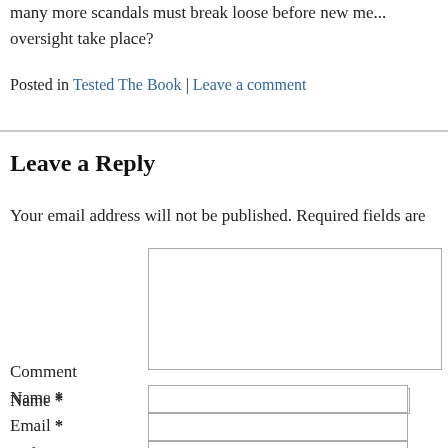many more scandals must break loose before new me... oversight take place?
Posted in Tested The Book | Leave a comment
Leave a Reply
Your email address will not be published. Required fields are
Comment
Name *
Email *
Website